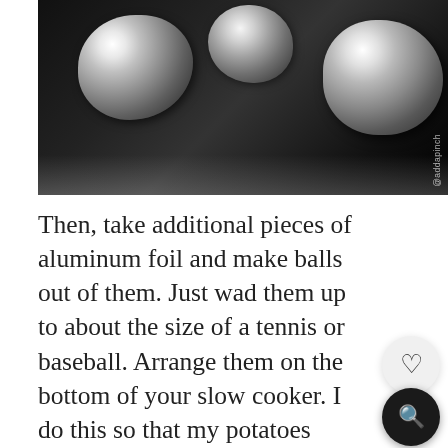[Figure (photo): Photo of aluminum foil balls on a dark slow cooker surface, with watermark '@addapinch' on the right side]
Then, take additional pieces of aluminum foil and make balls out of them. Just wad them up to about the size of a tennis or baseball. Arrange them on the bottom of your slow cooker. I do this so that my potatoes aren't resting directly on bottom of the slow cooker insert. I've found that if they do, the bottoms of the potato tends to cook more than the rest of the potato and leave a brown spot on the bottom. If that doesn't bug ya, then just skip this step.